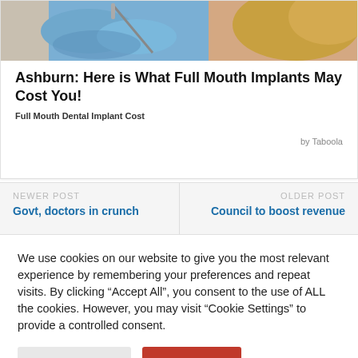[Figure (photo): Close-up photo of a dental procedure with blue gloved hands holding dental instruments near a patient with blonde hair]
Ashburn: Here is What Full Mouth Implants May Cost You!
Full Mouth Dental Implant Cost
by Taboola
Newer Post
Govt, doctors in crunch
Older Post
Council to boost revenue
We use cookies on our website to give you the most relevant experience by remembering your preferences and repeat visits. By clicking “Accept All”, you consent to the use of ALL the cookies. However, you may visit “Cookie Settings” to provide a controlled consent.
Cookie Settings
Accept All